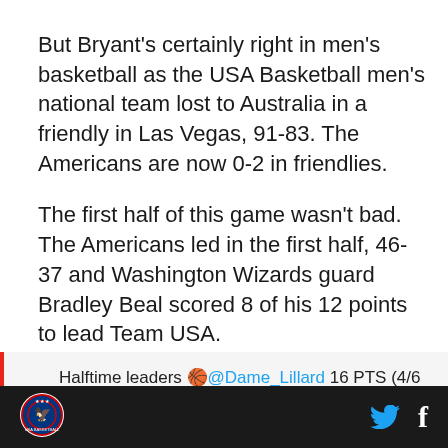But Bryant's certainly right in men's basketball as the USA Basketball men's national team lost to Australia in a friendly in Las Vegas, 91-83. The Americans are now 0-2 in friendlies.
The first half of this game wasn't bad. The Americans led in the first half, 46-37 and Washington Wizards guard Bradley Beal scored 8 of his 12 points to lead Team USA.
Halftime leaders 🏀@Dame_Lillard 16 PTS (4/6
[Figure (logo): USA Basketball circular logo with eagle]